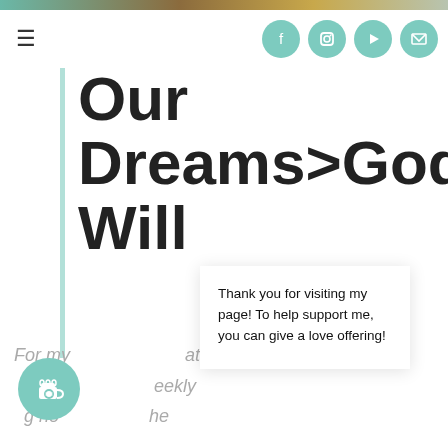Our Dreams>God's Will
Thank you for visiting my page! To help support me, you can give a love offering!
For my ... ating on ... eekly ... g ho... the